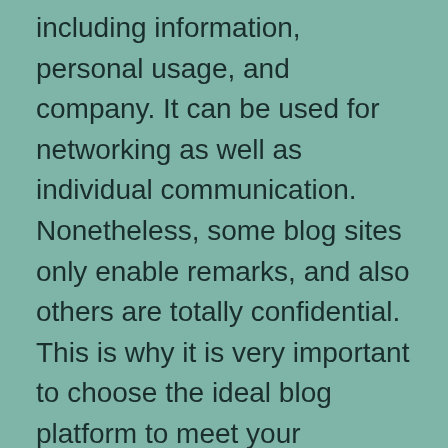including information, personal usage, and company. It can be used for networking as well as individual communication. Nonetheless, some blog sites only enable remarks, and also others are totally confidential. This is why it is very important to choose the ideal blog platform to meet your requirements. You can create a blog for your specific niche, or you can make one for your clients. The more blog sites you have, the more probable your potential market will certainly be.
Your organization can be successful by using a blog as a marketing effective tool...